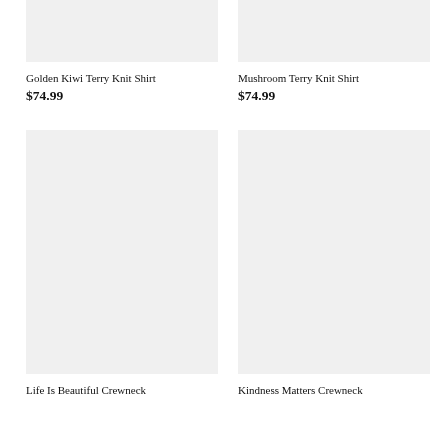[Figure (photo): Product image placeholder for Golden Kiwi Terry Knit Shirt - light gray rectangle]
[Figure (photo): Product image placeholder for Mushroom Terry Knit Shirt - light gray rectangle]
Golden Kiwi Terry Knit Shirt
$74.99
Mushroom Terry Knit Shirt
$74.99
[Figure (photo): Product image placeholder for Life Is Beautiful Crewneck - light gray tall rectangle]
[Figure (photo): Product image placeholder for Kindness Matters Crewneck - light gray tall rectangle]
Life Is Beautiful Crewneck
Kindness Matters Crewneck